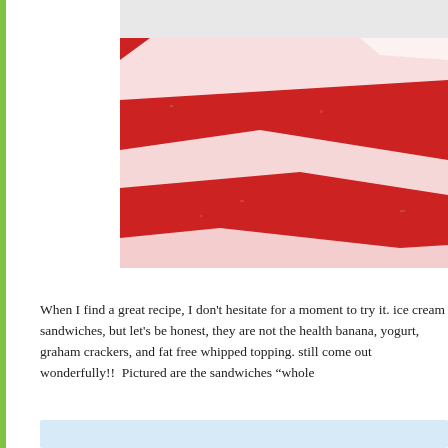[Figure (photo): Close-up photo of a red and white striped fabric or textile item, showing texture detail. The fabric has irregular white stripe patterns on a bright red background.]
When I find a great recipe, I don't hesitate for a moment to try it. I love ice cream sandwiches, but let's be honest, they are not the healthiest. banana, yogurt, graham crackers, and fat free whipped topping. still come out wonderfully!!  Pictured are the sandwiches "whole